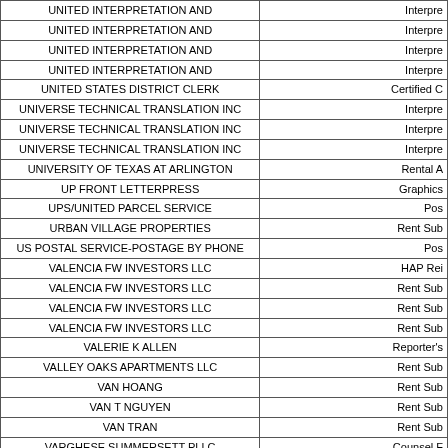| Vendor Name | Description |
| --- | --- |
| UNITED INTERPRETATION AND | Interpre |
| UNITED INTERPRETATION AND | Interpre |
| UNITED INTERPRETATION AND | Interpre |
| UNITED INTERPRETATION AND | Interpre |
| UNITED STATES DISTRICT CLERK | Certified C |
| UNIVERSE TECHNICAL TRANSLATION INC | Interpre |
| UNIVERSE TECHNICAL TRANSLATION INC | Interpre |
| UNIVERSE TECHNICAL TRANSLATION INC | Interpre |
| UNIVERSITY OF TEXAS AT ARLINGTON | Rental A |
| UP FRONT LETTERPRESS | Graphics |
| UPS/UNITED PARCEL SERVICE | Pos |
| URBAN VILLAGE PROPERTIES | Rent Sub |
| US POSTAL SERVICE-POSTAGE BY PHONE | Pos |
| VALENCIA FW INVESTORS LLC | HAP Rei |
| VALENCIA FW INVESTORS LLC | Rent Sub |
| VALENCIA FW INVESTORS LLC | Rent Sub |
| VALENCIA FW INVESTORS LLC | Rent Sub |
| VALERIE K ALLEN | Reporter's |
| VALLEY OAKS APARTMENTS LLC | Rent Sub |
| VAN HOANG | Rent Sub |
| VAN T NGUYEN | Rent Sub |
| VAN TRAN | Rent Sub |
| VARGHESE SUMMERSETT PLLC | Counsel F |